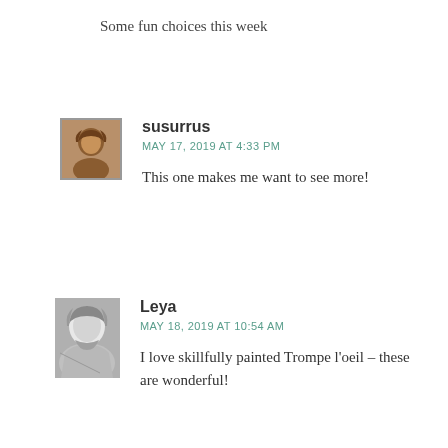Some fun choices this week
susurrus
MAY 17, 2019 AT 4:33 PM

This one makes me want to see more!
Leya
MAY 18, 2019 AT 10:54 AM

I love skillfully painted Trompe l'oeil – these are wonderful!